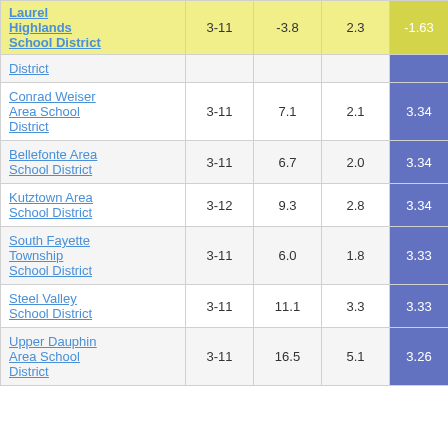| School District | Grades | Col3 | Col4 | Score |
| --- | --- | --- | --- | --- |
| Laurel Highlands School District | 3-11 | -3.8 | 2.3 | -1.63 |
| District |  |  |  |  |
| Conrad Weiser Area School District | 3-11 | 7.1 | 2.1 | 3.34 |
| Bellefonte Area School District | 3-11 | 6.7 | 2.0 | 3.34 |
| Kutztown Area School District | 3-12 | 9.3 | 2.8 | 3.34 |
| South Fayette Township School District | 3-11 | 6.0 | 1.8 | 3.33 |
| Steel Valley School District | 3-11 | 11.1 | 3.3 | 3.33 |
| Upper Dauphin Area School District | 3-11 | 16.5 | 5.1 | 3.26 |